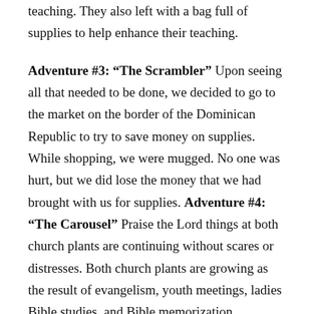teaching. They also left with a bag full of supplies to help enhance their teaching.

Adventure #3: “The Scrambler” Upon seeing all that needed to be done, we decided to go to the market on the border of the Dominican Republic to try to save money on supplies. While shopping, we were mugged. No one was hurt, but we did lose the money that we had brought with us for supplies. Adventure #4: “The Carousel” Praise the Lord things at both church plants are continuing without scares or distresses. Both church plants are growing as the result of evangelism, youth meetings, ladies Bible studies, and Bible memorization programs. By faith, we are going to begin building at the new church plant in January “mach pa mach” or